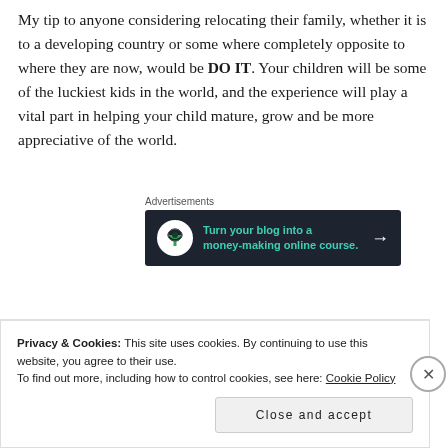My tip to anyone considering relocating their family, whether it is to a developing country or some where completely opposite to where they are now, would be DO IT. Your children will be some of the luckiest kids in the world, and the experience will play a vital part in helping your child mature, grow and be more appreciative of the world.
[Figure (other): Advertisement banner with dark background showing 'Turn your blog into a money-making online course.' with a tree icon and arrow, labeled 'Advertisements' above]
Have you had a unique upbringing? I'd love to hear your stories so leave me a comment below!
Privacy & Cookies: This site uses cookies. By continuing to use this website, you agree to their use. To find out more, including how to control cookies, see here: Cookie Policy